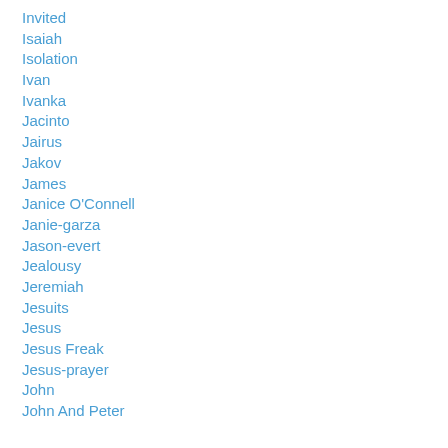Invited
Isaiah
Isolation
Ivan
Ivanka
Jacinto
Jairus
Jakov
James
Janice O'Connell
Janie-garza
Jason-evert
Jealousy
Jeremiah
Jesuits
Jesus
Jesus Freak
Jesus-prayer
John
John And Peter